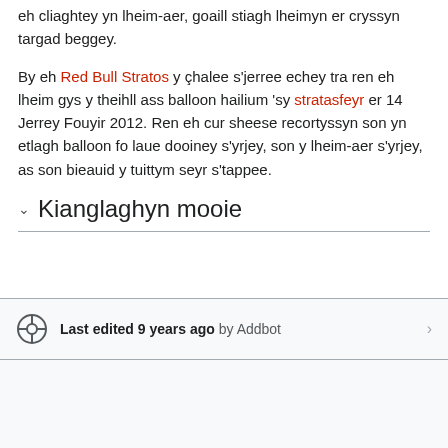eh cliaghtey yn lheim-aer, goaill stiagh lheimyn er cryssyn targad beggey.
By eh Red Bull Stratos y çhalee s'jerree echey tra ren eh lheim gys y theihll ass balloon hailium 'sy stratasfeyr er 14 Jerrey Fouyir 2012. Ren eh cur sheese recortyssyn son yn etlagh balloon fo laue dooiney s'yrjey, son y lheim-aer s'yrjey, as son bieauid y tuittym seyr s'tappee.
Kianglaghyn mooie
Last edited 9 years ago by Addbot